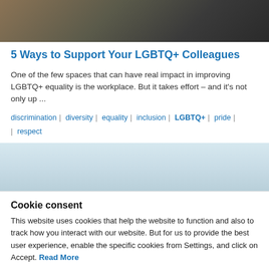[Figure (photo): Dark textured background photo at the top of the page]
5 Ways to Support Your LGBTQ+ Colleagues
One of the few spaces that can have real impact in improving LGBTQ+ equality is the workplace. But it takes effort – and it's not only up ...
discrimination | diversity | equality | inclusion | LGBTQ+ | pride | respect
[Figure (photo): Light blue/grey blurred photo, partial view]
Cookie consent
This website uses cookies that help the website to function and also to track how you interact with our website. But for us to provide the best user experience, enable the specific cookies from Settings, and click on Accept. Read More